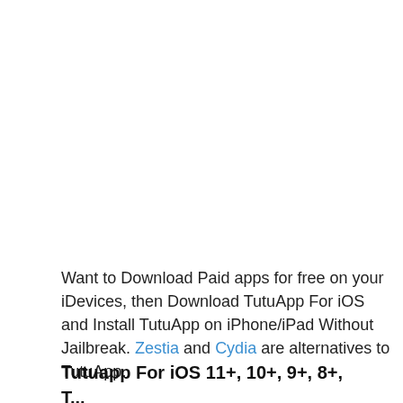Want to Download Paid apps for free on your iDevices, then Download TutuApp For iOS and Install TutuApp on iPhone/iPad Without Jailbreak. Zestia and Cydia are alternatives to TutuApp.
Tutuapp For iOS 11+, 10+, 9+, 8+, ...